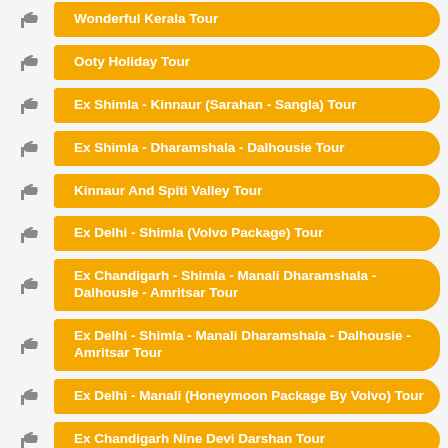Wonderful Kerala Tour
Ooty Holiday Tour
Ex Shimla - Kinnaur (Sarahan - Sangla) Tour
Ex Shimla - Dharamshala - Dalhousie Tour
Kinnaur And Spiti Valley Tour
Ex Delhi - Shimla (Volvo Package) Tour
Ex Chandigarh - Shimla - Manali Dharamshala - Dalhousie - Amritsar Tour
Ex Delhi - Shimla - Manali Dharamshala - Dalhousie - Amritsar Tour
Ex Delhi - Manali (Honeymoon Package By Volvo) Tour
Ex Chandigarh Nine Devi Darshan Tour